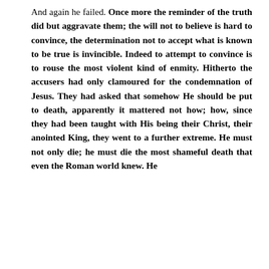And again he failed. Once more the reminder of the truth did but aggravate them; the will not to believe is hard to convince, the determination not to accept what is known to be true is invincible. Indeed to attempt to convince is to rouse the most violent kind of enmity. Hitherto the accusers had only clamoured for the condemnation of Jesus. They had asked that somehow He should be put to death, apparently it mattered not how; how, since they had been taught with His being their Christ, their anointed King, they went to a further extreme. He must not only die; he must die the most shameful death that even the Roman world knew. He